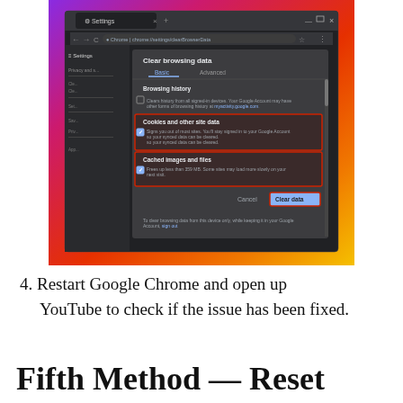[Figure (screenshot): Chrome browser window showing the 'Clear browsing data' dialog. The dialog has Basic and Advanced tabs. Checkboxes for 'Cookies and other site data' and 'Cached images and files' are checked and highlighted with red boxes. A 'Clear data' button is highlighted with a red box in the bottom right. The browser has a dark theme. The background behind the browser window shows a colorful gradient (purple, red, orange, yellow).]
4. Restart Google Chrome and open up YouTube to check if the issue has been fixed.
Fifth Method — Reset